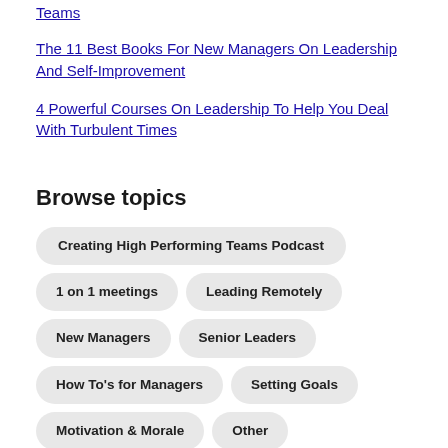Teams
The 11 Best Books For New Managers On Leadership And Self-Improvement
4 Powerful Courses On Leadership To Help You Deal With Turbulent Times
Browse topics
Creating High Performing Teams Podcast
1 on 1 meetings
Leading Remotely
New Managers
Senior Leaders
How To's for Managers
Setting Goals
Motivation & Morale
Other